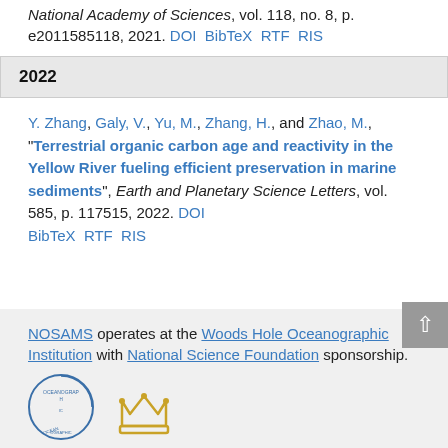National Academy of Sciences, vol. 118, no. 8, p. e2011585118, 2021. DOI BibTeX RTF RIS
2022
Y. Zhang, Galy, V., Yu, M., Zhang, H., and Zhao, M., "Terrestrial organic carbon age and reactivity in the Yellow River fueling efficient preservation in marine sediments", Earth and Planetary Science Letters, vol. 585, p. 117515, 2022. DOI BibTeX RTF RIS
NOSAMS operates at the Woods Hole Oceanographic Institution with National Science Foundation sponsorship.